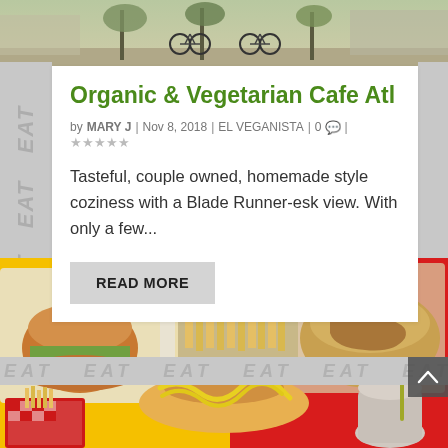[Figure (photo): Top portion of outdoor scene with bicycles parked near trees and buildings]
Organic & Vegetarian Cafe Atl
by MARY J | Nov 8, 2018 | EL VEGANISTA | 0 💬 | ★★★★★
Tasteful, couple owned, homemade style coziness with a Blade Runner-esk view. With only a few...
READ MORE
[Figure (photo): Food photo showing vegan burgers, hot dogs with mustard, fries, poutine, and a milkshake on colorful red and yellow backgrounds]